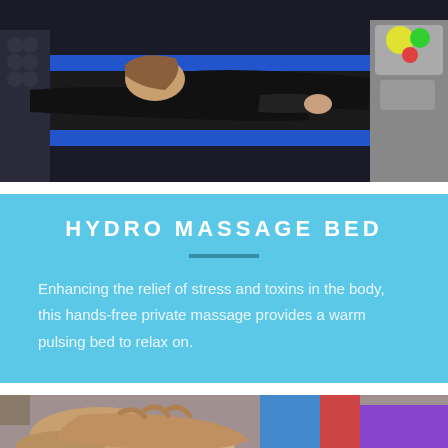[Figure (photo): Woman in black outfit lying face-up on a blue-edged hydro massage bed in a gym/spa setting. Equipment visible in background.]
HYDRO MASSAGE BED
Enhancing the relief of stress and toxins in the body, this hands-free private massage provides a warm pulsing bed to relax on.
[Figure (photo): Close-up of hands receiving a massage, partial view of colorful background.]